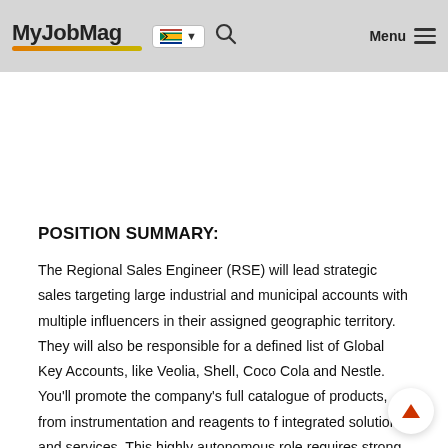MyJobMag [SA flag] [search] Menu
POSITION SUMMARY:
The Regional Sales Engineer (RSE) will lead strategic sales targeting large industrial and municipal accounts with multiple influencers in their assigned geographic territory. They will also be responsible for a defined list of Global Key Accounts, like Veolia, Shell, Coco Cola and Nestle. You'll promote the company's full catalogue of products, from instrumentation and reagents to f integrated solutions and services. This highly autonomous role requires strong intuition for business, planning, and the ability to